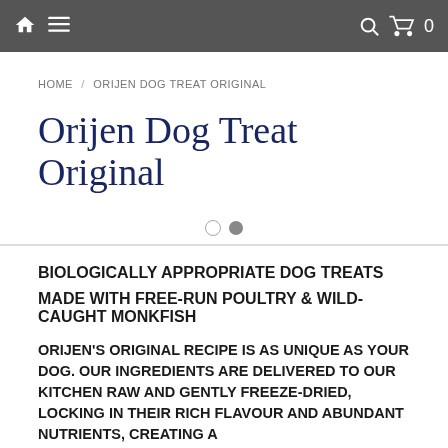HOME / ORIJEN DOG TREAT ORIGINAL
Orijen Dog Treat Original
BIOLOGICALLY APPROPRIATE DOG TREATS
MADE WITH FREE-RUN POULTRY & WILD-CAUGHT MONKFISH
ORIJEN'S ORIGINAL RECIPE IS AS UNIQUE AS YOUR DOG. OUR INGREDIENTS ARE DELIVERED TO OUR KITCHEN RAW AND GENTLY FREEZE-DRIED, LOCKING IN THEIR RICH FLAVOUR AND ABUNDANT NUTRIENTS, CREATING A